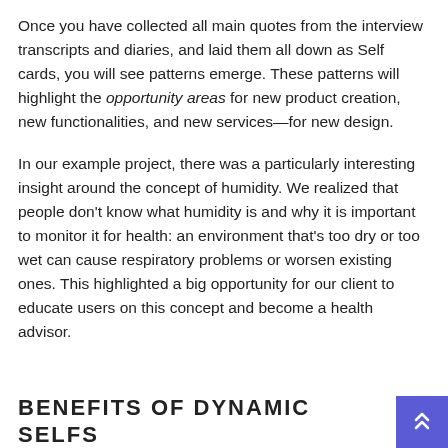Once you have collected all main quotes from the interview transcripts and diaries, and laid them all down as Self cards, you will see patterns emerge. These patterns will highlight the opportunity areas for new product creation, new functionalities, and new services—for new design.
In our example project, there was a particularly interesting insight around the concept of humidity. We realized that people don't know what humidity is and why it is important to monitor it for health: an environment that's too dry or too wet can cause respiratory problems or worsen existing ones. This highlighted a big opportunity for our client to educate users on this concept and become a health advisor.
BENEFITS OF DYNAMIC SELFS